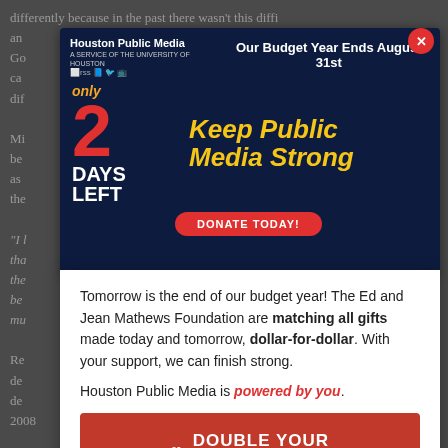differently because in the past there wasn't this difficulty and ... on. Go ... ca ... g dif ... Mi ... y be ... as ... t the ... "I ... th ... 's the ... v be ... mu ... Re ... de ... ne de ... 2008
[Figure (screenshot): Houston Public Media advertisement banner with dark navy background. Shows 'Our Budget Year Ends August 31st', 'only 2 DAYS LEFT' with large red '2', and 'Keep Public Media Strong' in yellow italic text. Has a 'DONATE TODAY!' red button.]
Tomorrow is the end of our budget year! The Ed and Jean Mathews Foundation are matching all gifts made today and tomorrow, dollar-for-dollar. With your support, we can finish strong.

Houston Public Media is powered by you.
[Figure (other): Red button with heart icon reading 'DOUBLE YOUR IMPACT']